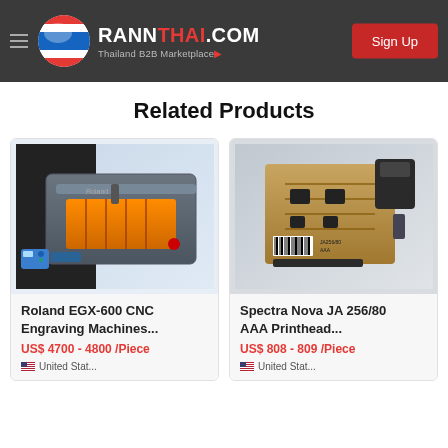RANNTHAI.COM — Thailand B2B Marketplace — Sign Up
Related Products
[Figure (photo): Roland EGX-600 CNC Engraving Machine — industrial desktop CNC router with orange cutting bed]
Roland EGX-600 CNC Engraving Machines...
US$ 4700 - 4800 /Piece
United Stat...
[Figure (photo): Spectra Nova JA 256/80 AAA Printhead — flexible circuit board printhead component]
Spectra Nova JA 256/80 AAA Printhead...
US$ 808 - 809 /Piece
United Stat...